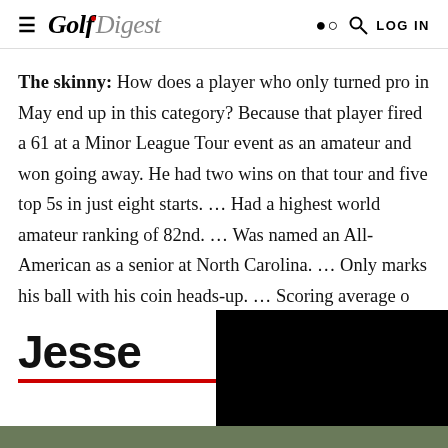≡ Golf Digest [search icon] LOG IN
The skinny: How does a player who only turned pro in May end up in this category? Because that player fired a 61 at a Minor League Tour event as an amateur and won going away. He had two wins on that tour and five top 5s in just eight starts. … Had a highest world amateur ranking of 82nd. … Was named an All-American as a senior at North Carolina. … Only marks his ball with his coin heads-up. … Scoring average o
Jesse